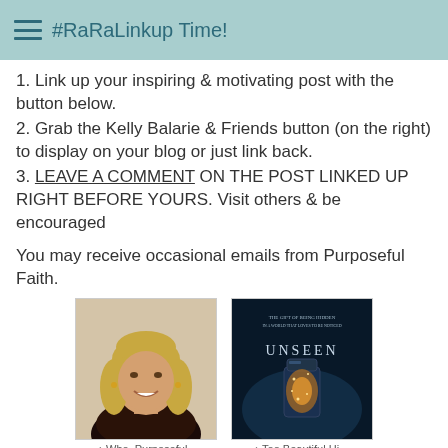#RaRaLinkup Time!
1. Link up your inspiring & motivating post with the button below.
2. Grab the Kelly Balarie & Friends button (on the right) to display on your blog or just link back.
3. LEAVE A COMMENT ON THE POST LINKED UP RIGHT BEFORE YOURS. Visit others & be encouraged
You may receive occasional emails from Purposeful Faith.
[Figure (photo): Photo of a smiling blonde woman]
[Figure (photo): Book cover for 'Unseen' with a glowing jar on dark background]